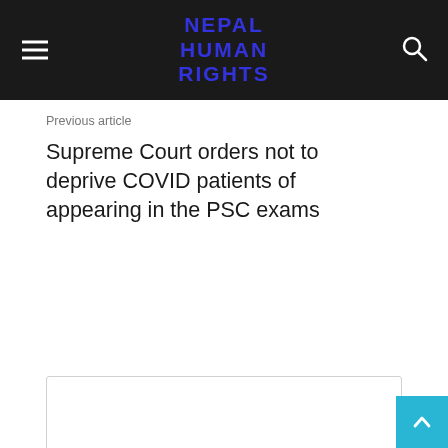NEPAL HUMAN RIGHTS
Previous article
Supreme Court orders not to deprive COVID patients of appearing in the PSC exams
[Figure (other): Author card box with NHR name and website URL http://www.nepalhumanrights.org]